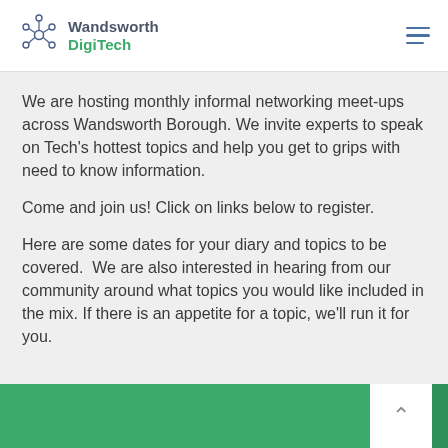Wandsworth DigiTech
We are hosting monthly informal networking meet-ups across Wandsworth Borough. We invite experts to speak on Tech’s hottest topics and help you get to grips with need to know information.
Come and join us! Click on links below to register.
Here are some dates for your diary and topics to be covered.  We are also interested in hearing from our community around what topics you would like included in the mix. If there is an appetite for a topic, we’ll run it for you.